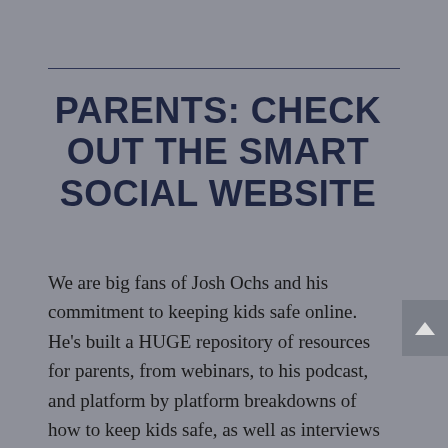PARENTS: CHECK OUT THE SMART SOCIAL WEBSITE
We are big fans of Josh Ochs and his commitment to keeping kids safe online. He's built a HUGE repository of resources for parents, from webinars, to his podcast, and platform by platform breakdowns of how to keep kids safe, as well as interviews with dozens of experts in various aspects of online life with kids.